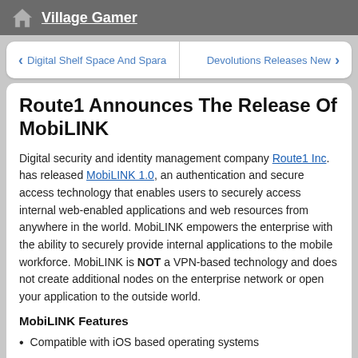Village Gamer
Digital Shelf Space And Spara | Devolutions Releases New
Route1 Announces The Release Of MobiLINK
Digital security and identity management company Route1 Inc. has released MobiLINK 1.0, an authentication and secure access technology that enables users to securely access internal web-enabled applications and web resources from anywhere in the world. MobiLINK empowers the enterprise with the ability to securely provide internal applications to the mobile workforce. MobiLINK is NOT a VPN-based technology and does not create additional nodes on the enterprise network or open your application to the outside world.
MobiLINK Features
Compatible with iOS based operating systems
Real-time out of band tool to manage certificate based entitlements
Centralized Policy Management for application entitlements and authorized MobiLINK versions